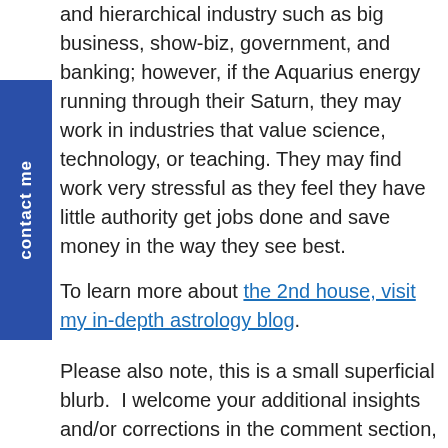and hierarchical industry such as big business, show-biz, government, and banking; however, if the Aquarius energy running through their Saturn, they may work in industries that value science, technology, or teaching. They may find work very stressful as they feel they have little authority get jobs done and save money in the way they see best.
To learn more about the 2nd house, visit my in-depth astrology blog.
Please also note, this is a small superficial blurb.  I welcome your additional insights and/or corrections in the comment section, especially if you have this placement.  And this delineation is based mostly on lack of awareness of the house.  If the native is conscious to house themes and has been working on challenges, everything I’ve said may not or no longer be true for the 2nd house Saturn native.
And just like looking at only the eye of a person won’t tell